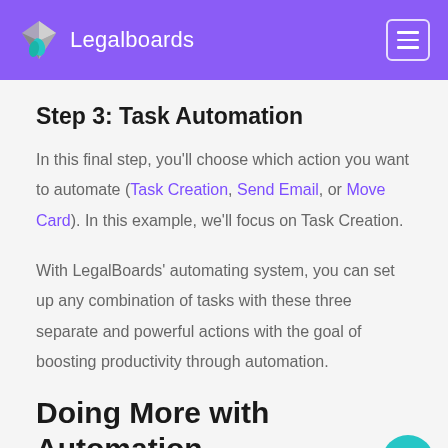Legalboards
Step 3: Task Automation
In this final step, you'll choose which action you want to automate (Task Creation, Send Email, or Move Card). In this example, we'll focus on Task Creation.
With LegalBoards' automating system, you can set up any combination of tasks with these three separate and powerful actions with the goal of boosting productivity through automation.
Doing More with Automation